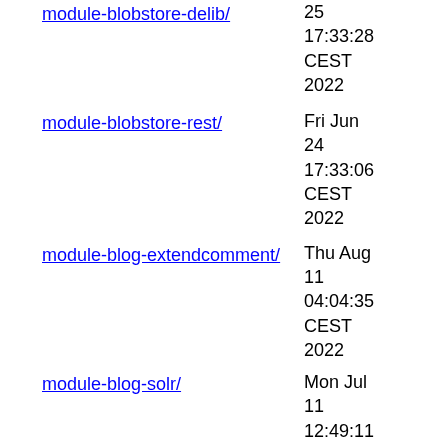module-blobstore-delib/ - 25 17:33:28 CEST 2022
module-blobstore-rest/ - Fri Jun 24 17:33:06 CEST 2022
module-blog-extendcomment/ - Thu Aug 11 04:04:35 CEST 2022
module-blog-solr/ - Mon Jul 11 12:49:11 CEST 2022
module-bp-solrsearchapp/ - Wed Aug 03 16:15:33 CEST